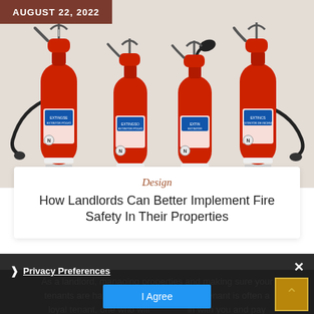[Figure (photo): Four red fire extinguishers mounted against a light beige/white wall, photographed from the front. The extinguishers vary slightly in size and hose configuration.]
AUGUST 22, 2022
Design
How Landlords Can Better Implement Fire Safety In Their Properties
As a landlord, managing properties and making sure your tenants are happy is essential. A happy tenant is often a loyal tenant, one who will remain with you and pay
Privacy Preferences
I Agree